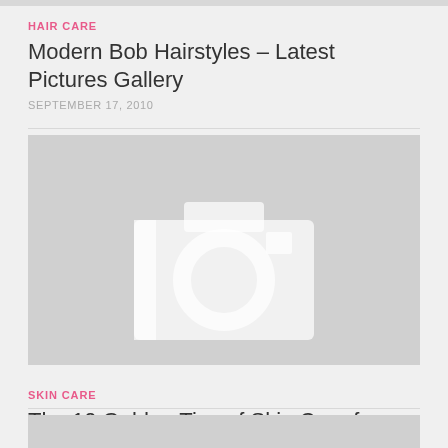HAIR CARE
Modern Bob Hairstyles – Latest Pictures Gallery
SEPTEMBER 17, 2010
[Figure (photo): Placeholder image with camera icon on grey background]
SKIN CARE
The 10 Golden Tips of Skin Care for Girls
SEPTEMBER 10, 2011
[Figure (photo): Placeholder image with grey background (partially visible)]